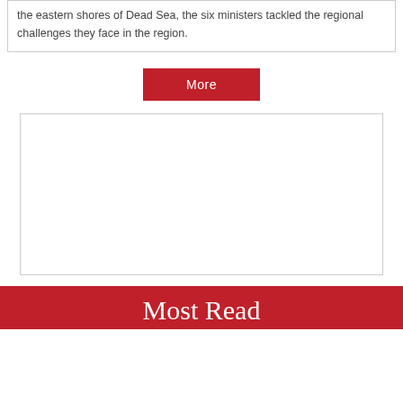the eastern shores of Dead Sea, the six ministers tackled the regional challenges they face in the region.
More
[Figure (other): Empty white image placeholder box with light gray border]
Most Read